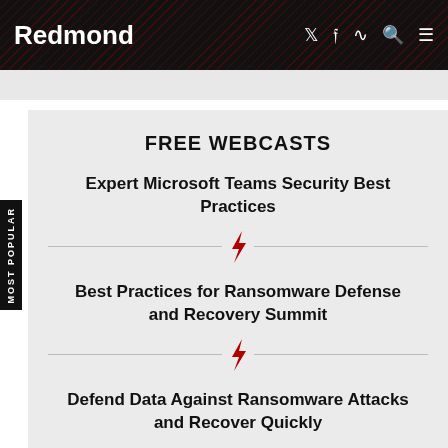Redmond
FREE WEBCASTS
Expert Microsoft Teams Security Best Practices
Best Practices for Ransomware Defense and Recovery Summit
Defend Data Against Ransomware Attacks and Recover Quickly